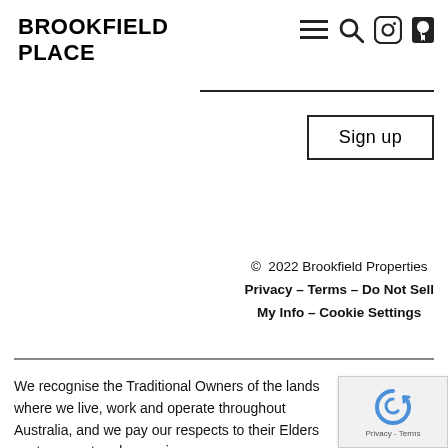BROOKFIELD PLACE
[Figure (screenshot): Navigation icons: hamburger menu, search magnifier, Instagram icon, Facebook icon]
[Figure (screenshot): Search bar input field]
[Figure (screenshot): Sign up button with border]
© 2022 Brookfield Properties
Privacy – Terms – Do Not Sell My Info – Cookie Settings
We recognise the Traditional Owners of the lands where we live, work and operate throughout Australia, and we pay our respects to their Elders past, present and emerging.
[Figure (screenshot): reCAPTCHA badge with Privacy - Terms text]